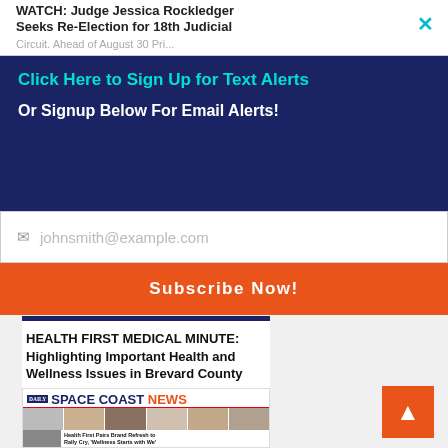WATCH: Judge Jessica Rockledger Seeks Re-Election for 18th Judicial Circuit. Ahead of August 30 Pri...
Click Here to Sign Up for Text Alerts
Or Signup Below For Email Alerts!
johnsmith@example.com
Subscribe Now!
HEALTH FIRST MEDICAL MINUTE: Highlighting Important Health and Wellness Issues in Brevard County
[Figure (screenshot): Thumbnail of Daily Space Coast News newspaper front page showing logo, staff photos, and headline 'Health First Pairs Brand Refresh to Rally Cry, Wellness Starts with We']